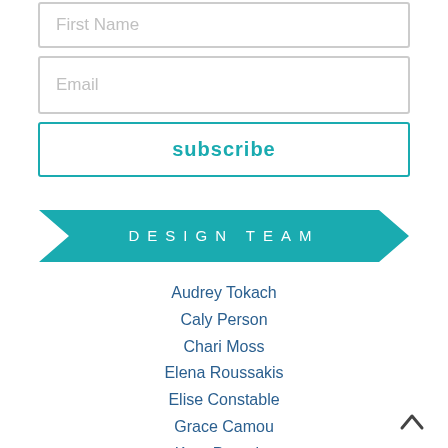First Name
Email
subscribe
DESIGN TEAM
Audrey Tokach
Caly Person
Chari Moss
Elena Roussakis
Elise Constable
Grace Camou
Kara Pogreba
Latisha Yoast
Lynnette Kauffman